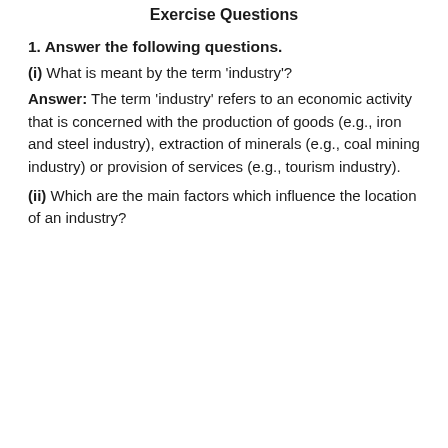Exercise Questions
1. Answer the following questions.
(i) What is meant by the term 'industry'?
Answer: The term 'industry' refers to an economic activity that is concerned with the production of goods (e.g., iron and steel industry), extraction of minerals (e.g., coal mining industry) or provision of services (e.g., tourism industry).
(ii) Which are the main factors which influence the location of an industry?